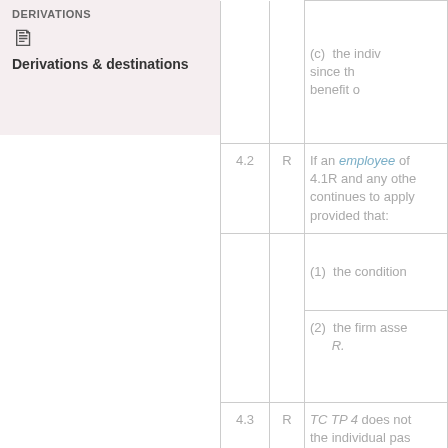Derivations & destinations
|  | R | (c)/text |
| --- | --- | --- |
|  |  | (c) the indiv... since th... benefit o... |
| 4.2 | R | If an employee of... 4.1R and any othe... continues to apply... provided that: |
|  |  | (1) the condition... |
|  |  | (2) the firm asse... R. |
| 4.3 | R | TC TP 4 does not... the individual pas... |